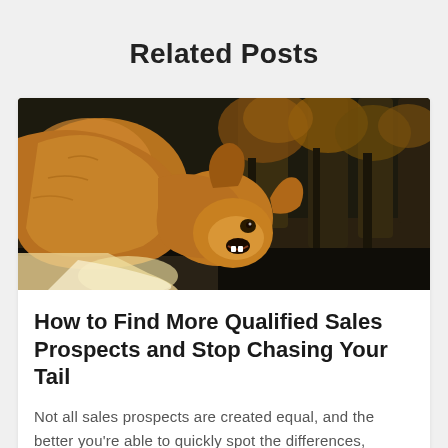Related Posts
[Figure (photo): A golden-brown dog bending its head around to bite or chew at its own tail or hindquarters, photographed against a blurred background of autumn trees in a forest.]
How to Find More Qualified Sales Prospects and Stop Chasing Your Tail
Not all sales prospects are created equal, and the better you're able to quickly spot the differences, your…